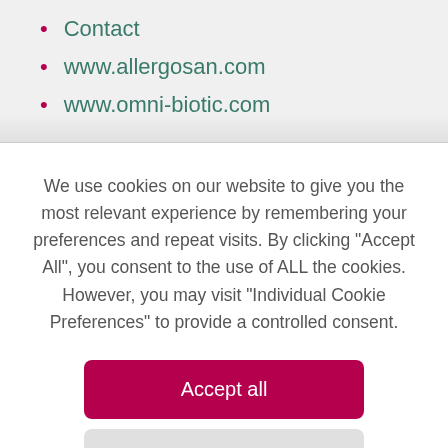Contact
www.allergosan.com
www.omni-biotic.com
We use cookies on our website to give you the most relevant experience by remembering your preferences and repeat visits. By clicking “Accept All”, you consent to the use of ALL the cookies. However, you may visit “Individual Cookie Preferences” to provide a controlled consent.
Accept all
Individual Cookie Preferences